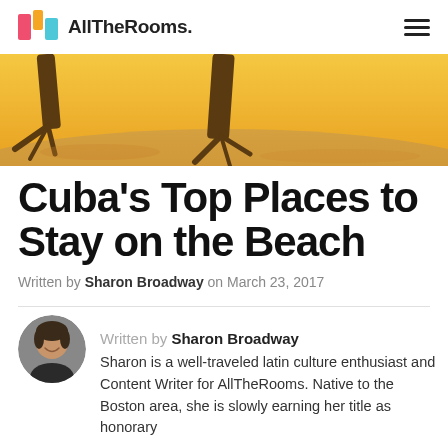AllTheRooms.
[Figure (photo): Hero beach photo showing sandy shore with palm tree roots and warm golden/yellow tones]
Cuba's Top Places to Stay on the Beach
Written by Sharon Broadway on March 23, 2017
[Figure (photo): Circular avatar photo of Sharon Broadway, a woman smiling indoors]
Written by Sharon Broadway
Sharon is a well-traveled latin culture enthusiast and Content Writer for AllTheRooms. Native to the Boston area, she is slowly earning her title as honorary